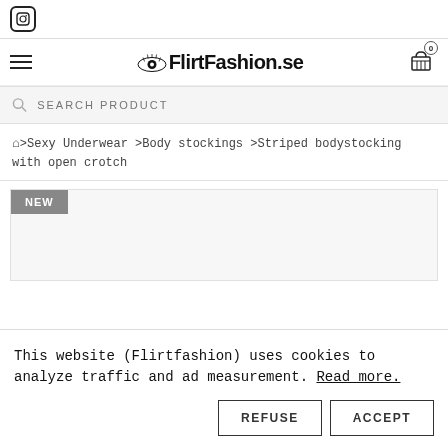[Figure (logo): Instagram icon - rounded square logo]
[Figure (logo): FlirtFashion.se logo with eye graphic, hamburger menu icon, and shopping cart with 0 items]
SEARCH PRODUCT
🏠 > Sexy Underwear > Body stockings > Striped bodystocking with open crotch
[Figure (other): Product image area with NEW badge label, partially visible]
This website (Flirtfashion) uses cookies to analyze traffic and ad measurement. Read more.
REFUSE   ACCEPT